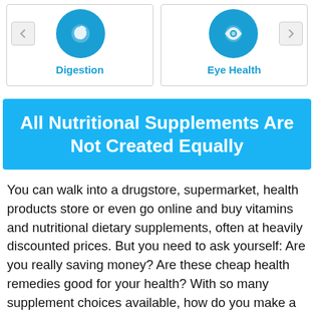[Figure (other): Two category cards side by side: Digestion (left) and Eye Health (right), each with a circular blue icon and navigation arrow buttons]
All Nutritional Supplements Are Not Created Equally
You can walk into a drugstore, supermarket, health products store or even go online and buy vitamins and nutritional dietary supplements, often at heavily discounted prices. But you need to ask yourself: Are you really saving money? Are these cheap health remedies good for your health? With so many supplement choices available, how do you make a smart choice?
Especially when the nutritional supplement industry is not regulated in the same way pharmaceuticals are